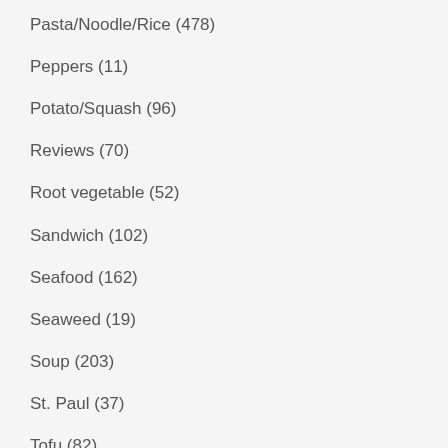Outing (28)
Pasta/Noodle/Rice (478)
Peppers (11)
Potato/Squash (96)
Reviews (70)
Root vegetable (52)
Sandwich (102)
Seafood (162)
Seaweed (19)
Soup (203)
St. Paul (37)
Tofu (82)